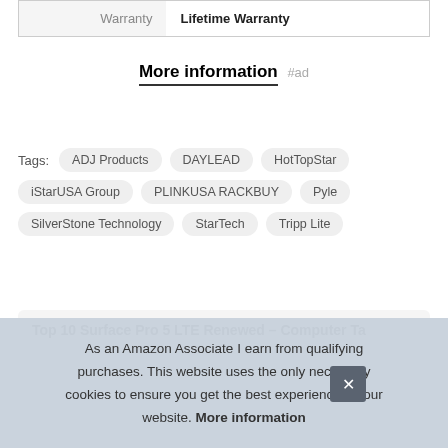| Warranty | Lifetime Warranty |
More information #ad
Tags: ADJ Products  DAYLEAD  HotTopStar  iStarUSA Group  PLINKUSA RACKBUY  Pyle  SilverStone Technology  StarTech  Tripp Lite
Top 10 Surface Pro 5 LTE Renewed – Computer Ta
As an Amazon Associate I earn from qualifying purchases. This website uses the only necessary cookies to ensure you get the best experience on our website. More information